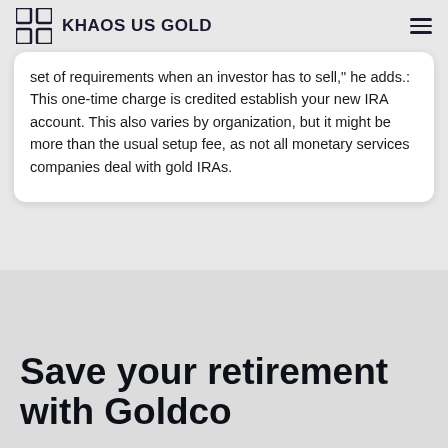KHAOS US GOLD
set of requirements when an investor has to sell," he adds.: This one-time charge is credited establish your new IRA account. This also varies by organization, but it might be more than the usual setup fee, as not all monetary services companies deal with gold IRAs.
Save your retirement with Goldco